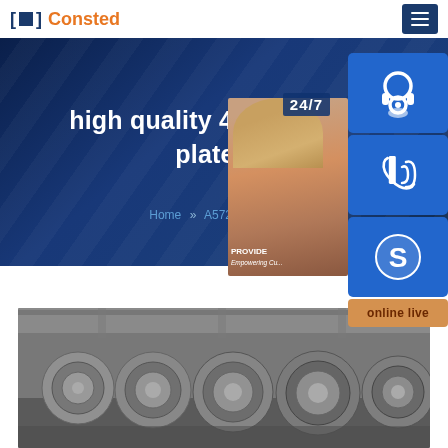Consted
high quality 430 ba s... plate
Home >> A572 steel
24/7
PROVIDE Empowering Cu...
online live
[Figure (photo): Steel coils stacked in a warehouse/industrial facility]